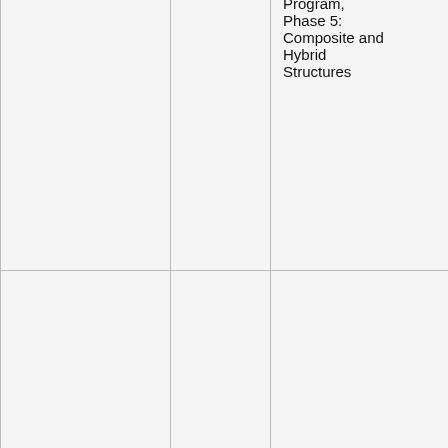|  |  |  | Program, Phase 5: Composite and Hybrid Structures |
|  | Zhong & Miao | 1988 | Composite Construction in Steel and Concrete |
|  |  |  | Code ... |